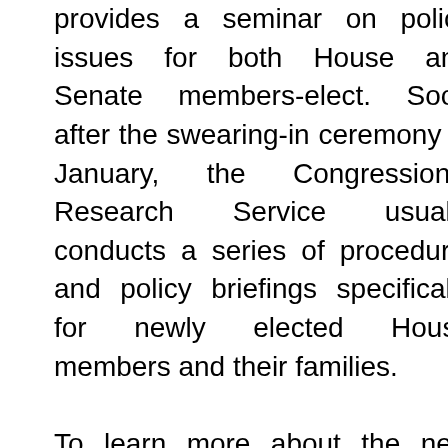Heritage Foundation provides a seminar on policy issues for both House and Senate members-elect. Soon after the swearing-in ceremony in January, the Congressional Research Service usually conducts a series of procedural and policy briefings specifically for newly elected House members and their families.

To learn more about the new Congress and about congressional sessions and organization, look at TheCapitol.Net's 1-day program New Congress, and the 3-day Capitol Hill Workshop.